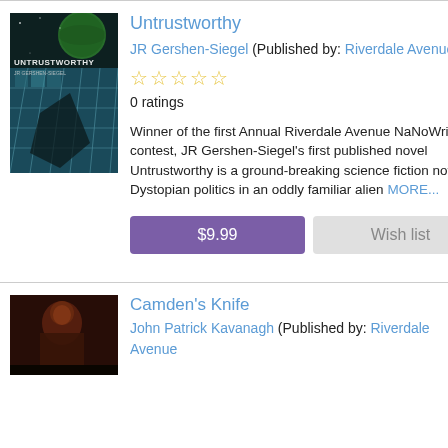[Figure (illustration): Book cover for 'Untrustworthy' by JR Gershen-Siegel — dark sci-fi cover with green planet and blue glass building]
Untrustworthy
JR Gershen-Siegel (Published by: Riverdale Avenue )
0 ratings
Winner of the first Annual Riverdale Avenue NaNoWriMo contest, JR Gershen-Siegel's first published novel Untrustworthy is a ground-breaking science fiction novel of Dystopian politics in an oddly familiar alien MORE...
$9.99
Wish list
[Figure (illustration): Book cover for Camden's Knife — dark image with a figure]
Camden's Knife
John Patrick Kavanagh (Published by: Riverdale Avenue )